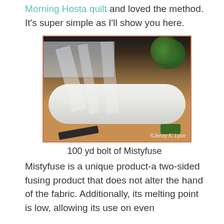Morning Hosta quilt and loved the method. It's super simple as I'll show you here.
[Figure (photo): A 100 yd bolt of Mistyfuse shown in an open cardboard box, with white rolled material and sheer fabric strips visible. A grid ruler and green plant leaves are visible in the background. Photo credit: ©Jenny K. Lyon]
100 yd bolt of Mistyfuse
Mistyfuse is a unique product-a two-sided fusing product that does not alter the hand of the fabric. Additionally, its melting point is low, allowing its use on even